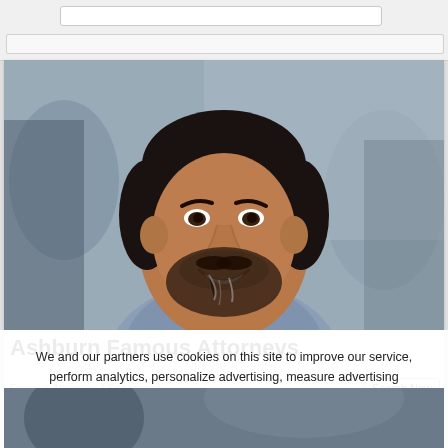[Figure (photo): Middle-aged man with dark salt-and-pepper hair and beard, smiling, wearing a light blue shirt, blurred indoor background]
Ashburn Famous Attorneys
Famous Attorneys | Sponsored
Search Now
We and our partners use cookies on this site to improve our service, perform analytics, personalize advertising, measure advertising performance, and remember website preferences.
Ok